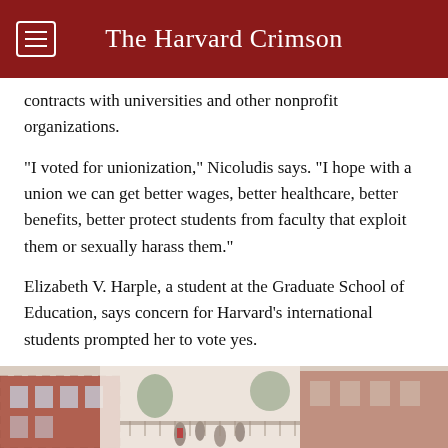The Harvard Crimson
contracts with universities and other nonprofit organizations.
"I voted for unionization," Nicoludis says. "I hope with a union we can get better wages, better healthcare, better benefits, better protect students from faculty that exploit them or sexually harass them."
Elizabeth V. Harple, a student at the Graduate School of Education, says concern for Harvard's international students prompted her to vote yes.
"I want to protect my international student friends, who face a lot of challenges," she says.
[Figure (photo): Outdoor photo showing people near a brick building on a Harvard campus, partial view cropped at bottom of page]